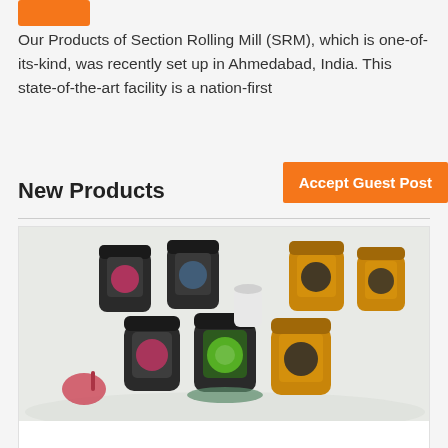Our Products of Section Rolling Mill (SRM), which is one-of-its-kind, was recently set up in Ahmedabad, India. This state-of-the-art facility is a nation-first
New Products
[Figure (photo): Multiple jars of Biosota Organics manuka honey products arranged on a light surface]
Biosota Organics
Biosota,biosota organics,biosota manuka honey,biosota manuka,biosota honey,manuka honey,manuka,organic manuka honey,manuka honey australia,aus...